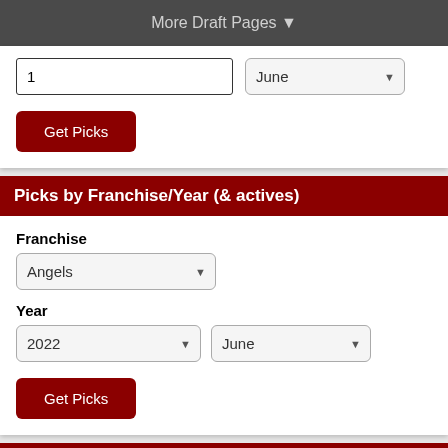More Draft Pages ▼
1
June
Get Picks
Picks by Franchise/Year (& actives)
Franchise
Angels
Year
2022
June
Get Picks
Picks by Franchise/Round
Franchise